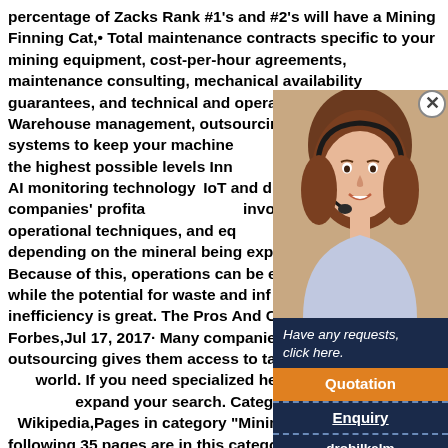percentage of Zacks Rank #1's and #2's will have a Mining Finning Cat,• Total maintenance contracts specific to your mining equipment, cost-per-hour agreements, maintenance consulting, mechanical availability guarantees, and technical and operator training • Warehouse management, outsourcing, and distribution systems to keep your machines running and producing at the highest possible levels Innovative mining with IoT and AI monitoring technology. IoT and digital are boosting companies' profitability. Mining involves various operational techniques, and equipment and technology, depending on the mineral being explored or extracted. Because of this, operations can be extremely expensive, while the potential for waste and inefficiency due to inefficiency is great. The Pros And Cons Of Outsourcing Forbes,Jul 17, 2017· Many companies have found that outsourcing gives them access to talent in other parts of the world. If you need specialized help, it often makes sense to expand your search. Category:Mining equipment - Wikipedia,Pages in category "Mining equipment" The following 35 pages are in this category, out of 35 total. This list may not reflect recent changes (). Pandemic Pushes Healthcare Human Resources Into,Sep 24, 2020· Pandemic Pushes Healthcare Human Resources Into Outsourcing, Black Book Survey HR outsourcing in hospitals and physician groups has matured. Whether it's MiningWeekly Features Library
[Figure (photo): A woman wearing a headset smiling, appearing as a customer service representative, shown in a pop-up overlay in the upper right of the page]
Have any requests, click here.
Quotation
Enquiry
drobilkalm@gmail.com